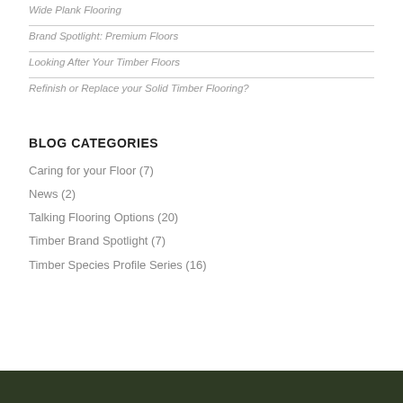Wide Plank Flooring
Brand Spotlight: Premium Floors
Looking After Your Timber Floors
Refinish or Replace your Solid Timber Flooring?
BLOG CATEGORIES
Caring for your Floor (7)
News (2)
Talking Flooring Options (20)
Timber Brand Spotlight (7)
Timber Species Profile Series (16)